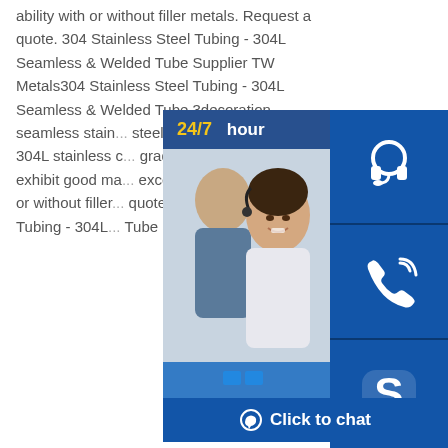ability with or without filler metals. Request a quote. 304 Stainless Steel Tubing - 304L Seamless & Welded Tube Supplier TW Metals304 Stainless Steel Tubing - 304L Seamless & Welded Tube 3decoration seamless stainless steel tubeType 304 and 304L stainless c... grades from TW Metals exhibit good ma... excellent weld-ability with or without filler... quote! 304 Stainless Steel Tubing - 304L... Tube Supplier TW Metals
[Figure (photo): Customer service representative smiling, with 24/7 hour badge and blue icon buttons for chat, phone, and Skype, plus a Click to chat bar]
316 stainless st...
[Figure (photo): Bundle of dark steel pipes/tubes stacked together on white/light gray background]
316 316 stainless... Mo due to the addition of Mo, so its corrosion resistance, atmospheric corrosion resistance and high temperature strength is particularly good, can be used in harsh conditions;Excellent work hardening (non-magnetic).Equipment for the production of seawater, chemicals, dyes, papermaking, oxalic acid and fertilizers;Photography, food industry, coastal 3decoration